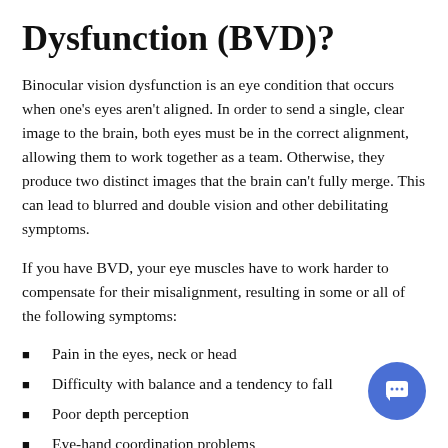Dysfunction (BVD)?
Binocular vision dysfunction is an eye condition that occurs when one's eyes aren't aligned. In order to send a single, clear image to the brain, both eyes must be in the correct alignment, allowing them to work together as a team. Otherwise, they produce two distinct images that the brain can't fully merge. This can lead to blurred and double vision and other debilitating symptoms.
If you have BVD, your eye muscles have to work harder to compensate for their misalignment, resulting in some or all of the following symptoms:
Pain in the eyes, neck or head
Difficulty with balance and a tendency to fall
Poor depth perception
Eye-hand coordination problems
Reading problems – skipping lines, difficulty focusing and